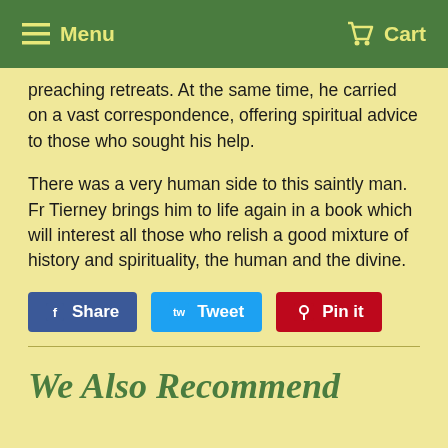Menu   Cart
preaching retreats. At the same time, he carried on a vast correspondence, offering spiritual advice to those who sought his help.
There was a very human side to this saintly man. Fr Tierney brings him to life again in a book which will interest all those who relish a good mixture of history and spirituality, the human and the divine.
Share  Tweet  Pin it
We Also Recommend